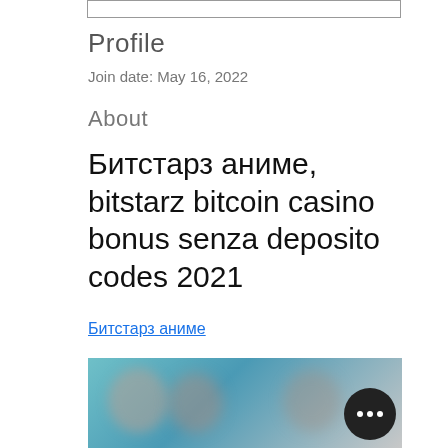Profile
Join date: May 16, 2022
About
Битстарз аниме, bitstarz bitcoin casino bonus senza deposito codes 2021
Битстарз аниме
[Figure (photo): Blurred banner image with a dark circular button with three dots (more options button)]